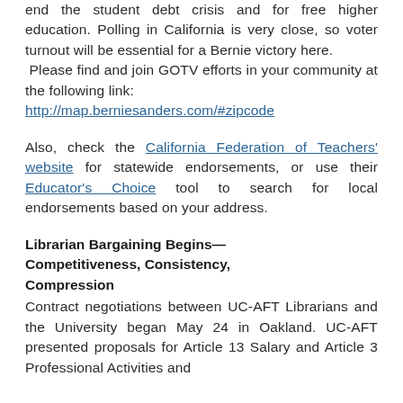end the student debt crisis and for free higher education. Polling in California is very close, so voter turnout will be essential for a Bernie victory here.  Please find and join GOTV efforts in your community at the following link: http://map.berniesanders.com/#zipcode
Also, check the California Federation of Teachers' website for statewide endorsements, or use their Educator's Choice tool to search for local endorsements based on your address.
Librarian Bargaining Begins—Competitiveness, Consistency, Compression
Contract negotiations between UC-AFT Librarians and the University began May 24 in Oakland. UC-AFT presented proposals for Article 13 Salary and Article 3 Professional Activities and